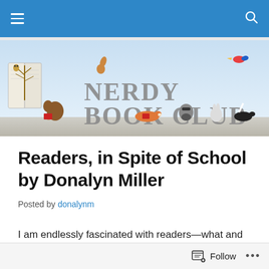Nerdy Book Club – navigation bar
[Figure (illustration): Nerdy Book Club banner illustration showing cartoon woodland animals (bear, squirrel, fox, raccoon, rabbit, skunk) reading books, with large grey text 'NERDY BOOK CLUB' and a small blue bird on a light blue background. An open book with a tree is on the left.]
Readers, in Spite of School by Donalyn Miller
Posted by donalynm
I am endlessly fascinated with readers—what and why they read, how they become readers, what is…